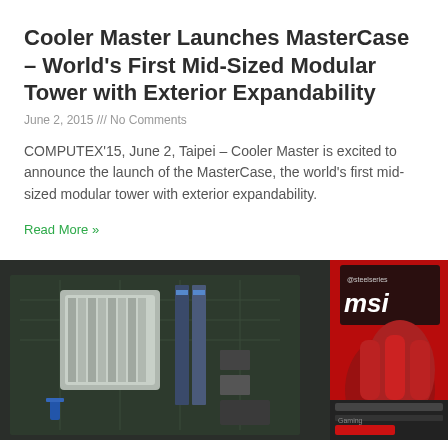Cooler Master Launches MasterCase – World's First Mid-Sized Modular Tower with Exterior Expandability
June 2, 2015 /// No Comments
COMPUTEX'15, June 2, Taipei – Cooler Master is excited to announce the launch of the MasterCase, the world's first mid-sized modular tower with exterior expandability.
Read More »
[Figure (photo): Photo of a motherboard (MSI branding visible) with computer hardware components, steelseries logo in top right corner, red and black color scheme]